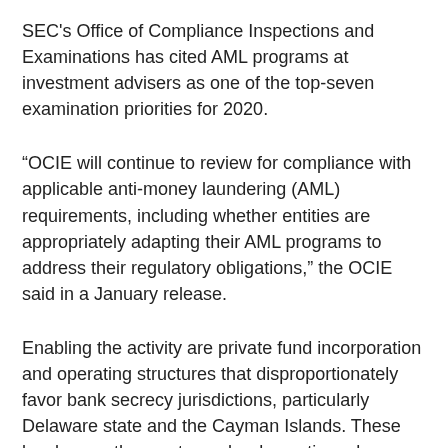SEC's Office of Compliance Inspections and Examinations has cited AML programs at investment advisers as one of the top-seven examination priorities for 2020.
“OCIE will continue to review for compliance with applicable anti-money laundering (AML) requirements, including whether entities are appropriately adapting their AML programs to address their regulatory obligations,” the OCIE said in a January release.
Enabling the activity are private fund incorporation and operating structures that disproportionately favor bank secrecy jurisdictions, particularly Delaware state and the Cayman Islands. These locales are the most popular domestic and offshore destinations to set up general